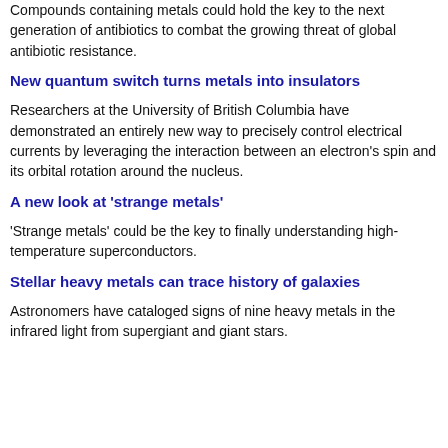Compounds containing metals could hold the key to the next generation of antibiotics to combat the growing threat of global antibiotic resistance.
New quantum switch turns metals into insulators
Researchers at the University of British Columbia have demonstrated an entirely new way to precisely control electrical currents by leveraging the interaction between an electron's spin and its orbital rotation around the nucleus.
A new look at 'strange metals'
'Strange metals' could be the key to finally understanding high-temperature superconductors.
Stellar heavy metals can trace history of galaxies
Astronomers have cataloged signs of nine heavy metals in the infrared light from supergiant and giant stars.